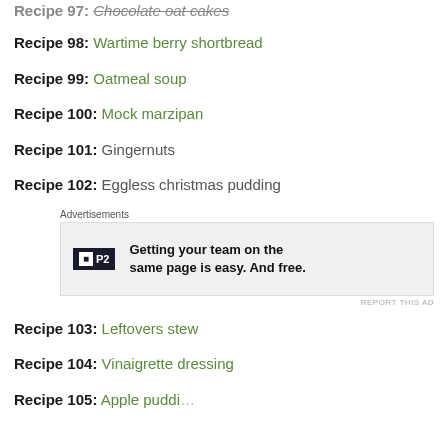Recipe 97: Chocolate oat cakes
Recipe 98: Wartime berry shortbread
Recipe 99: Oatmeal soup
Recipe 100: Mock marzipan
Recipe 101: Gingernuts
Recipe 102: Eggless christmas pudding
[Figure (screenshot): Advertisement box with P2 logo and text: Getting your team on the same page is easy. And free.]
Recipe 103: Leftovers stew
Recipe 104: Vinaigrette dressing
Recipe 105: Apple pudding (partial)